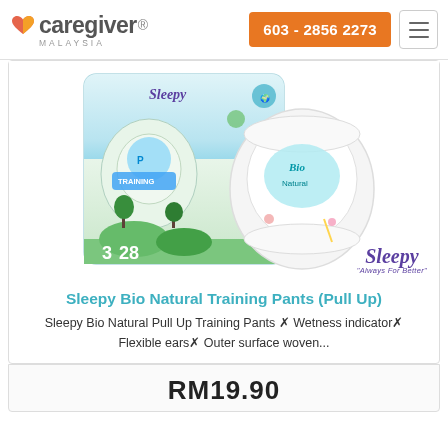[Figure (logo): Caregiver Malaysia logo with orange/red heart icon and text]
603 - 2856 2273
[Figure (photo): Sleepy Bio Natural Training Pants (Pull Up) product image showing packaging and a pull-up diaper]
[Figure (logo): Sleepy brand logo with tagline 'Always For Better']
Sleepy Bio Natural Training Pants (Pull Up)
Sleepy Bio Natural Pull Up Training Pants ✓ Wetness indicator✓ Flexible ears✓ Outer surface woven...
RM19.90